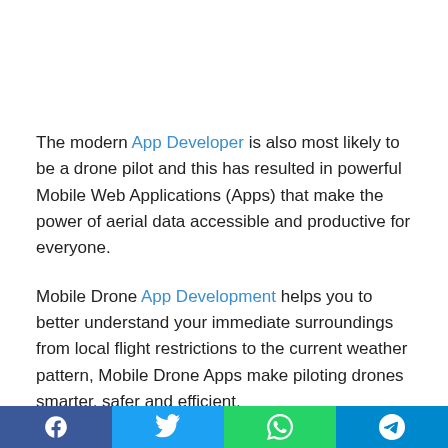The modern App Developer is also most likely to be a drone pilot and this has resulted in powerful Mobile Web Applications (Apps) that make the power of aerial data accessible and productive for everyone.
Mobile Drone App Development helps you to better understand your immediate surroundings from local flight restrictions to the current weather pattern, Mobile Drone Apps make piloting drones smarter, safer and efficient.
Although your drone most probably comes with its own in-built
Facebook | Twitter | WhatsApp | Telegram